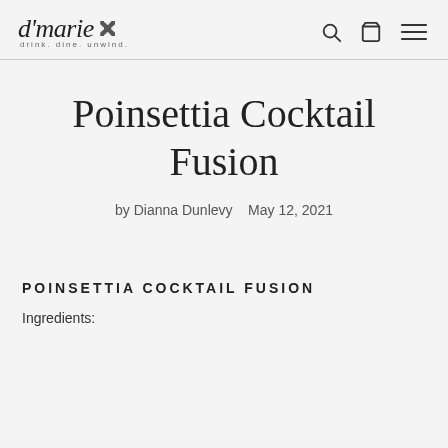d'marie drink. dine. unwind.
Poinsettia Cocktail Fusion
by Dianna Dunlevy   May 12, 2021
POINSETTIA COCKTAIL FUSION
Ingredients: